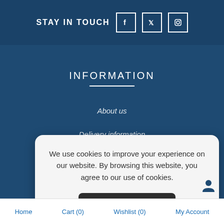STAY IN TOUCH
INFORMATION
About us
Delivery information
We use cookies to improve your experience on our website. By browsing this website, you agree to our use of cookies.
Yes, I Accept
Home   Cart (0)   Wishlist (0)   My Account